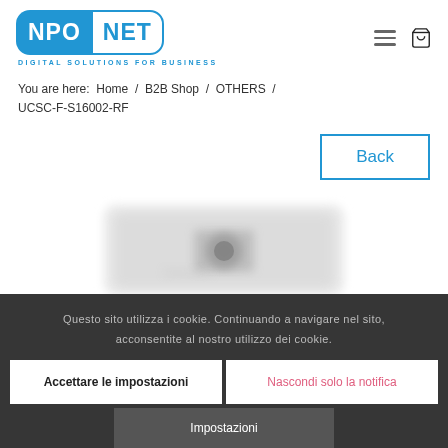[Figure (logo): NPO NET logo with blue rounded rectangle background and blue outlined rectangle. Tagline: DIGITAL SOLUTIONS FOR BUSINESS]
You are here:  Home  /  B2B Shop  /  OTHERS  /  UCSC-F-S16002-RF
[Figure (screenshot): Back button with blue border and blue text]
[Figure (photo): Blurred product image of a network adapter card]
Questo sito utilizza i cookie. Continuando a navigare nel sito, acconsentite al nostro utilizzo dei cookie.
Accettare le impostazioni
Nascondi solo la notifica
Impostazioni